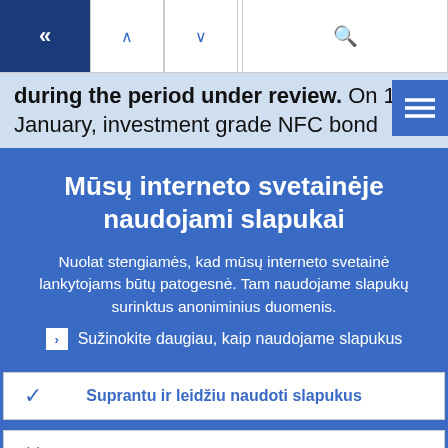[Figure (screenshot): Navigation bar with back button (dark blue), up/down arrows, and search icon]
during the period under review. On 18 January, investment grade NFC bond
[Figure (screenshot): Hamburger menu button (blue with three horizontal lines)]
Mūsų interneto svetainėje naudojami slapukai
Nuolat stengiamės, kad mūsų interneto svetainė lankytojams būtų patogesnė. Tam naudojame slapukų surinktus anoniminius duomenis.
› Sužinokite daugiau, kaip naudojame slapukus
✓ Suprantu ir leidžiu naudoti slapukus
✕ Neleidžiu naudoti slapukų